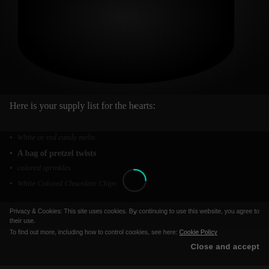[Figure (photo): Dark, low-light photograph showing a shadowy silhouette or figure, very dark background]
Here is your supply list for the hearts:
White or red candy melts
A bag of pretzel twists
colored sprinkles
White Colored Chocolate Chips
Privacy & Cookies: This site uses cookies. By continuing to use this website, you agree to their use.
To find out more, including how to control cookies, see here: Cookie Policy
Close and accept